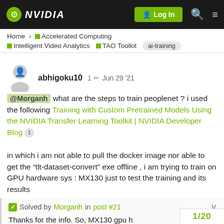NVIDIA | Log In
Home > Accelerated Computing > Intelligent Video Analytics > TAO Toolkit | ai-training
abhigoku10  1  Jun 29 '21
@Morganh what are the steps to train peoplenet ? i used the following Training with Custom Pretrained Models Using the NVIDIA Transfer Learning Toolkit | NVIDIA Developer Blog 1
in which i am not able to pull the docker image nor able to get the “tlt-dataset-convert” exe offline , i am trying to train on GPU hardware sys : MX130 just to test the training and its results
✓ Solved by Morganh in post #21
Thanks for the info. So, MX130 gpu h
1/20